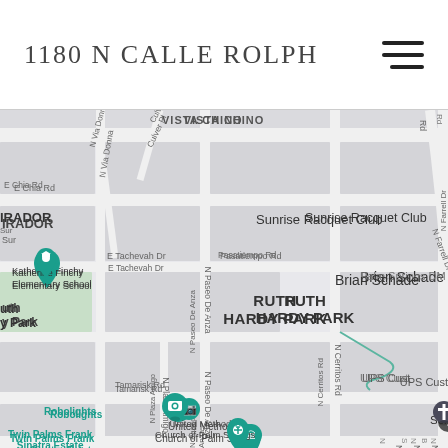1180 N Calle Rolph
[Figure (map): Google Maps view showing the neighborhood around 1180 N Calle Rolph in Palm Springs. Visible landmarks include Sunrise Racquet Club, Brian Schade (property pin), Katherine Finchy Elementary School, Ruth Hardy Park, Robolights, Twin Palms Frank Sinatra Estate, United Methodist Church of Palm Springs, Selleck Construction, Palm Springs DM, UPS Customer Center. Streets visible include Vista Chino, E Chia Rd, N Farrell Dr, N Via Donna, Culver Pl, Pasatiempo Rd, E Tachevah Dr, N Paseo De Anza, E El Alameda, Tamarisk Rd, N Cerritos Rd, N Plaza Amigo, N Paseo De Anza, E Via Acapulco, E Alejo Rd.]